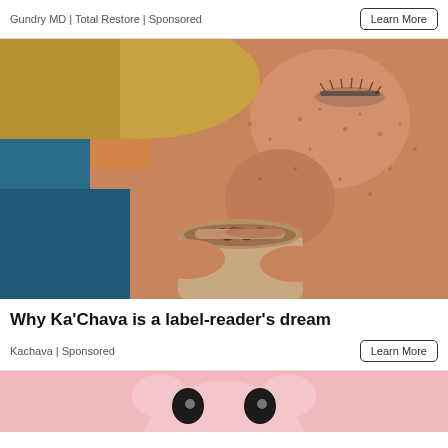Gundry MD | Total Restore | Sponsored
[Figure (photo): Close-up photo of a woman with freckles and closed eyes, sipping from a small cup of chocolate-colored drink.]
Why Ka'Chava is a label-reader's dream
Kachava | Sponsored
[Figure (illustration): Partial view of a pink cartoon pig face illustration on a light pink background.]